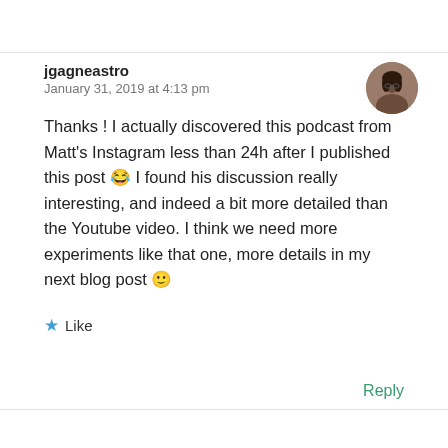jgagneastro
January 31, 2019 at 4:13 pm
Thanks ! I actually discovered this podcast from Matt's Instagram less than 24h after I published this post 😂 I found his discussion really interesting, and indeed a bit more detailed than the Youtube video. I think we need more experiments like that one, more details in my next blog post 🙂
★ Like
Reply